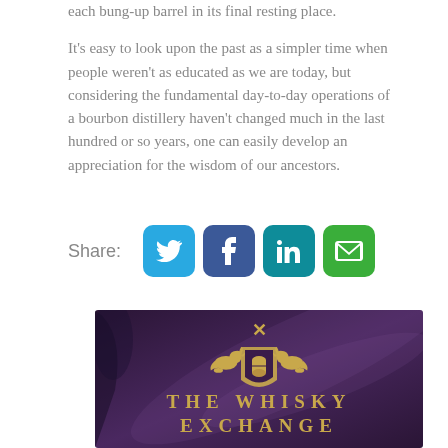each bung-up barrel in its final resting place. It's easy to look upon the past as a simpler time when people weren't as educated as we are today, but considering the fundamental day-to-day operations of a bourbon distillery haven't changed much in the last hundred or so years, one can easily develop an appreciation for the wisdom of our ancestors.
Share:
[Figure (other): The Whisky Exchange advertisement banner with heraldic crest on dark purple background]
THE WHISKY EXCHANGE